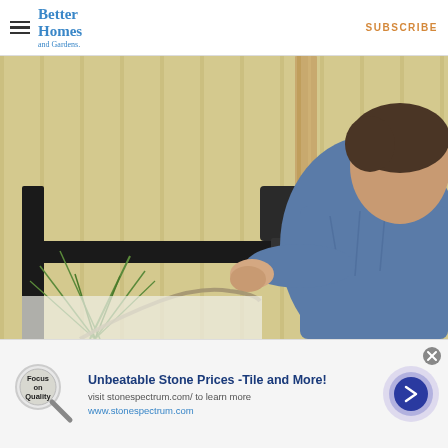Better Homes and Gardens | SUBSCRIBE
[Figure (photo): A man in a blue shirt working on a black metal frame structure, using a rubber mallet, with green plants and a rope visible in the foreground, against a cream/yellow corrugated metal wall background.]
Unbeatable Stone Prices -Tile and More! visit stonespectrum.com/ to learn more www.stonespectrum.com